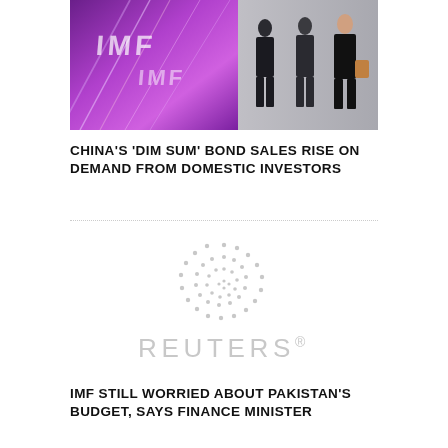[Figure (photo): Purple/magenta banner with 'IMF' text and people walking in business attire on the right side]
CHINA'S 'DIM SUM' BOND SALES RISE ON DEMAND FROM DOMESTIC INVESTORS
[Figure (logo): Reuters logo — circular dot pattern above the word REUTERS with registered trademark symbol]
IMF STILL WORRIED ABOUT PAKISTAN'S BUDGET, SAYS FINANCE MINISTER